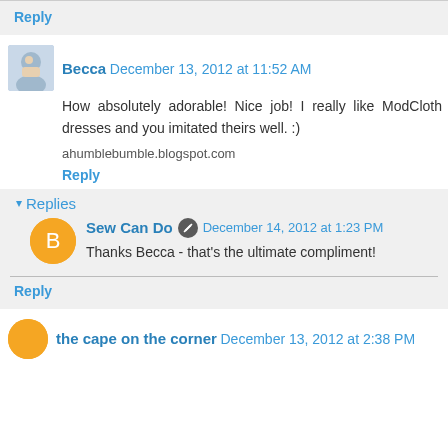Reply
Becca December 13, 2012 at 11:52 AM
How absolutely adorable! Nice job! I really like ModCloth dresses and you imitated theirs well. :)
ahumblebumble.blogspot.com
Reply
Replies
Sew Can Do December 14, 2012 at 1:23 PM
Thanks Becca - that's the ultimate compliment!
Reply
the cape on the corner December 13, 2012 at 2:38 PM